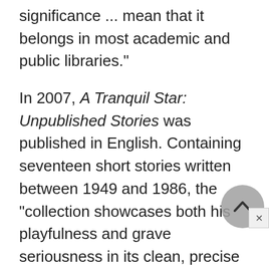significance ... mean that it belongs in most academic and public libraries."
In 2007, A Tranquil Star: Unpublished Stories was published in English. Containing seventeen short stories written between 1949 and 1986, the "collection showcases both his playfulness and grave seriousness in its clean, precise style," wrote Travis Fristoe in the Library Journal. Among the stories are "Gladiators," a tale of
prisoners who battle cars in order to have their sentences commuted, and